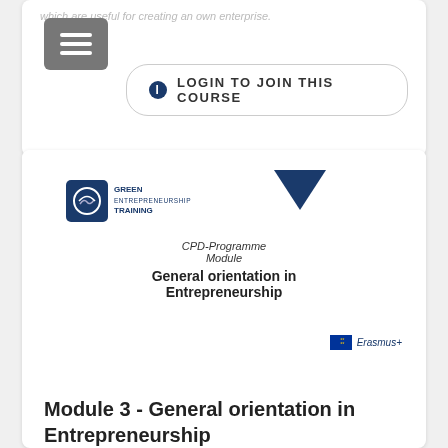which are useful for creating an own enterprise.
LOGIN TO JOIN THIS COURSE
[Figure (screenshot): Course card showing Green Entrepreneurship Training logo, a dark blue downward chevron, CPD-Programme Module text, course title 'General orientation in Entrepreneurship', and Erasmus+ badge]
Module 3 - General orientation in Entrepreneurship